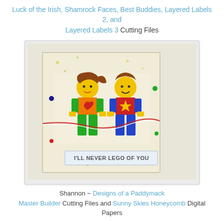Luck of the Irish, Shamrock Faces, Best Buddies, Layered Labels 2, and Layered Labels 3 Cutting Files
[Figure (photo): A handmade greeting card featuring two Lego-style character cutouts — a girl with a ponytail wearing an orange/green shirt with a heart, and a boy wearing a red shirt with a star — standing on a decorated card with colorful sequins, honeycomb background pattern, and a banner reading 'I'LL NEVER LEGO OF YOU'. Red and white twine wraps around the card.]
Shannon ~ Designs of a Paddymack Master Builder Cutting Files and Sunny Skies Honeycomb Digital Papers